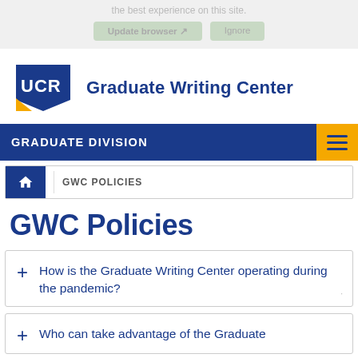the best experience on this site.
[Figure (logo): UCR Graduate Writing Center logo with blue shield and yellow accent]
GRADUATE DIVISION
GWC POLICIES
GWC Policies
+ How is the Graduate Writing Center operating during the pandemic?
+ Who can take advantage of the Graduate